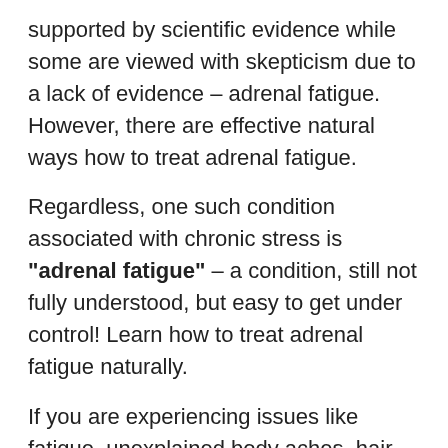supported by scientific evidence while some are viewed with skepticism due to a lack of evidence – adrenal fatigue. However, there are effective natural ways how to treat adrenal fatigue.
Regardless, one such condition associated with chronic stress is "adrenal fatigue" – a condition, still not fully understood, but easy to get under control! Learn how to treat adrenal fatigue naturally.
If you are experiencing issues like fatigue, unexplained body aches, hair loss, etc., because of your stressful lifestyle, you might be a victim of this condition. In this blog post,